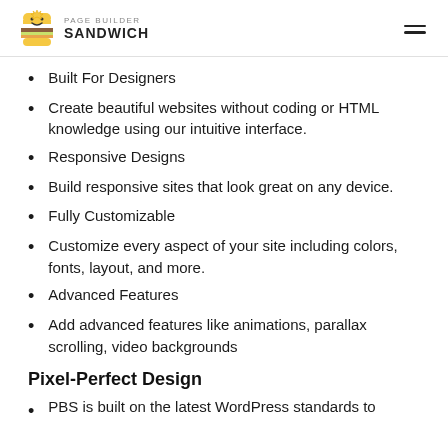Page Builder Sandwich
Built For Designers
Create beautiful websites without coding or HTML knowledge using our intuitive interface.
Responsive Designs
Build responsive sites that look great on any device.
Fully Customizable
Customize every aspect of your site including colors, fonts, layout, and more.
Advanced Features
Add advanced features like animations, parallax scrolling, video backgrounds
Pixel-Perfect Design
PBS is built on the latest WordPress standards to